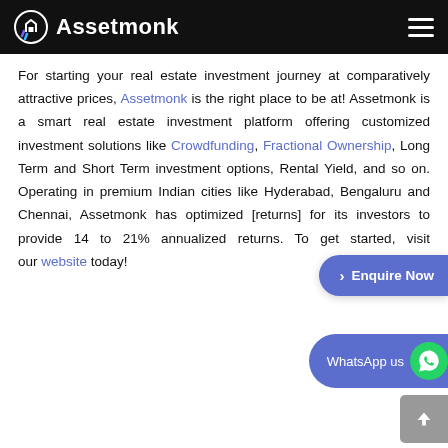Assetmonk
For starting your real estate investment journey at comparatively attractive prices, Assetmonk is the right place to be at! Assetmonk is a smart real estate investment platform offering customized investment solutions like Crowdfunding, Fractional Ownership, Long Term and Short Term investment options, Rental Yield, and so on. Operating in premium Indian cities like Hyderabad, Bengaluru and Chennai, Assetmonk has optimized [returns] for its investors to provide 14 to 21% annualized returns. To get started, visit our website today!